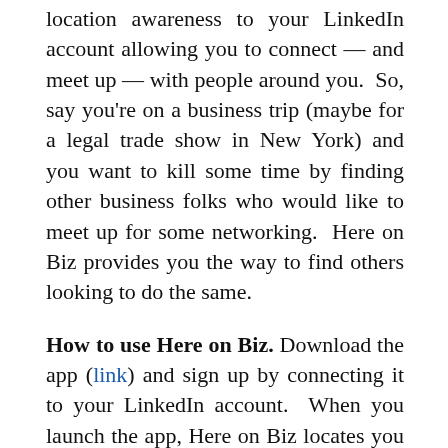location awareness to your LinkedIn account allowing you to connect — and meet up — with people around you.  So, say you're on a business trip (maybe for a legal trade show in New York) and you want to kill some time by finding other business folks who would like to meet up for some networking.  Here on Biz provides you the way to find others looking to do the same.
How to use Here on Biz. Download the app (link) and sign up by connecting it to your LinkedIn account.  When you launch the app, Here on Biz locates you and shows you fellow Here on Biz users in the area.   Check out the profiles and if you find someone interesting, click the plus sign to add them to your HoB network.  When they accept the invitation, you can start a chat and arrange a meet up.  HoB handles the invite for you.  For your safety in meeting strangers...